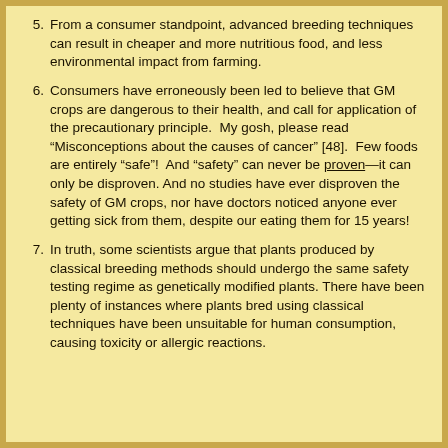5. From a consumer standpoint, advanced breeding techniques can result in cheaper and more nutritious food, and less environmental impact from farming.
6. Consumers have erroneously been led to believe that GM crops are dangerous to their health, and call for application of the precautionary principle. My gosh, please read “Misconceptions about the causes of cancer” [48]. Few foods are entirely “safe”! And “safety” can never be proven—it can only be disproven. And no studies have ever disproven the safety of GM crops, nor have doctors noticed anyone ever getting sick from them, despite our eating them for 15 years!
7. In truth, some scientists argue that plants produced by classical breeding methods should undergo the same safety testing regime as genetically modified plants. There have been plenty of instances where plants bred using classical techniques have been unsuitable for human consumption, causing toxicity or allergic reactions.